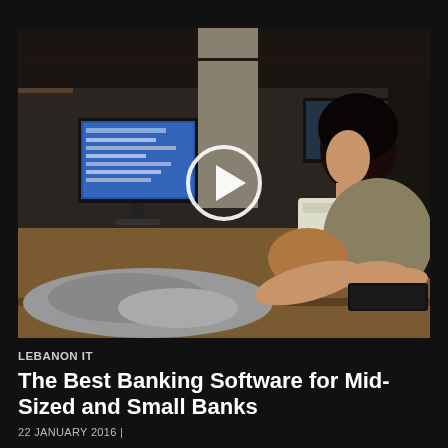[Figure (photo): Woman sitting at a desk working on a computer in an office environment, with monitors, keyboards, and office supplies visible. A video play button overlay is centered on the image.]
LEBANON IT
The Best Banking Software for Mid-Sized and Small Banks
22 JANUARY 2016 |
"We think that for the mid-sized banks and the small banks